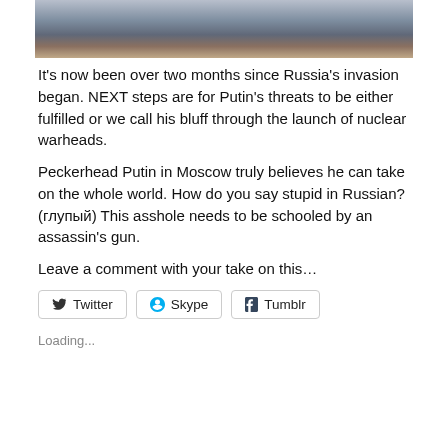[Figure (photo): Cropped photo showing two people seated at a table, with hands and torsos visible, wearing dark suits.]
It’s now been over two months since Russia’s invasion began. NEXT steps are for Putin’s threats to be either fulfilled or we call his bluff through the launch of nuclear warheads.
Peckerhead Putin in Moscow truly believes he can take on the whole world. How do you say stupid in Russian? (глупый) This asshole needs to be schooled by an assassin’s gun.
Leave a comment with your take on this…
Twitter  Skype  Tumblr
Loading...